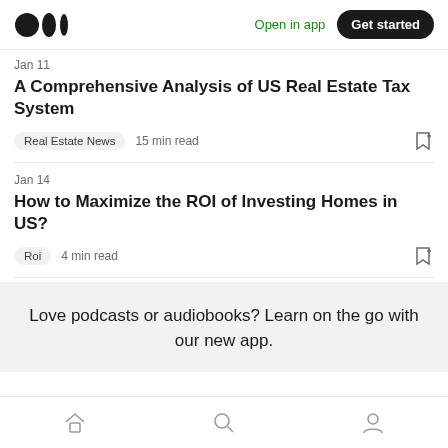Medium app navigation bar with logo, Open in app, Get started
Jan 11
A Comprehensive Analysis of US Real Estate Tax System
Real Estate News  15 min read
Jan 14
How to Maximize the ROI of Investing Homes in US?
Roi  4 min read
Love podcasts or audiobooks? Learn on the go with our new app.
Home | Search | Profile